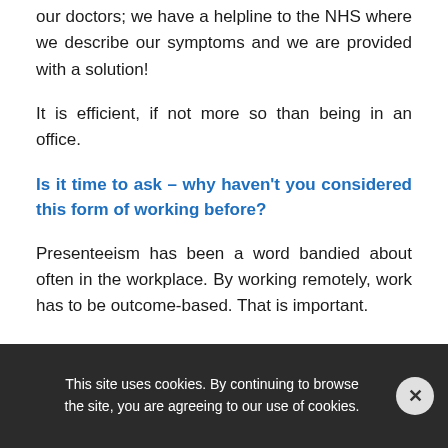our doctors; we have a helpline to the NHS where we describe our symptoms and we are provided with a solution!
It is efficient, if not more so than being in an office.
Is it time to ask – why haven't you considered this form of working before?
Presenteeism has been a word bandied about often in the workplace. By working remotely, work has to be outcome-based. That is important.
When...
This site uses cookies. By continuing to browse the site, you are agreeing to our use of cookies.